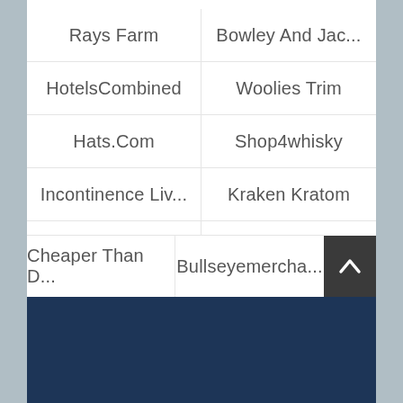Rays Farm
Bowley And Jac...
HotelsCombined
Woolies Trim
Hats.Com
Shop4whisky
Incontinence Liv...
Kraken Kratom
Starbucks
Bronner'S Coup...
Pandora Promo ...
Ancestry 50% Di...
Cheaper Than D...
Bullseyemercha...